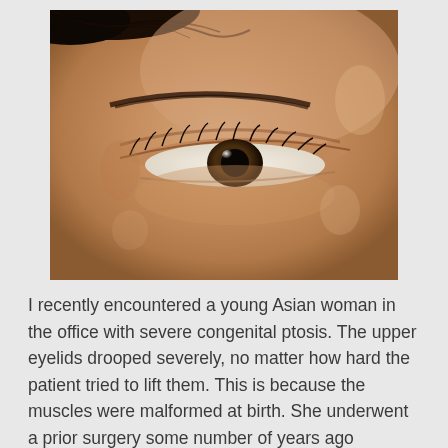[Figure (photo): Close-up photograph of an Asian woman's eye showing severe congenital ptosis — the upper eyelid droops significantly over the eye. The skin around the eye appears shiny, and the eyelashes and brow are visible.]
I recently encountered a young Asian woman in the office with severe congenital ptosis. The upper eyelids drooped severely, no matter how hard the patient tried to lift them. This is because the muscles were malformed at birth. She underwent a prior surgery some number of years ago elsewhere to attempt to